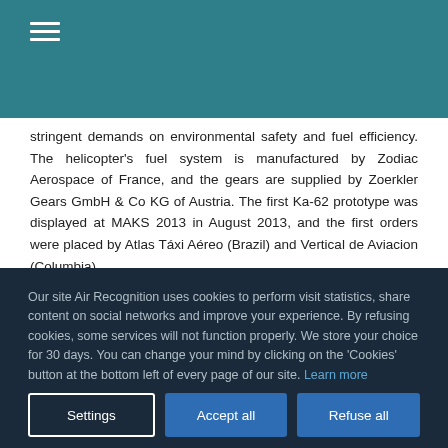☰
stringent demands on environmental safety and fuel efficiency. The helicopter's fuel system is manufactured by Zodiac Aerospace of France, and the gears are supplied by Zoerkler Gears GmbH & Co KG of Austria. The first Ka-62 prototype was displayed at MAKS 2013 in August 2013, and the first orders were placed by Atlas Táxi Aéreo (Brazil) and Vertical de Aviacion (Columbia).
Our site Air Recognition uses cookies to perform visit statistics, share content on social networks and improve your experience. By refusing cookies, some services will not function properly. We store your choice for 30 days. You can change your mind by clicking on the 'Cookies' button at the bottom left of every page of our site. Learn more